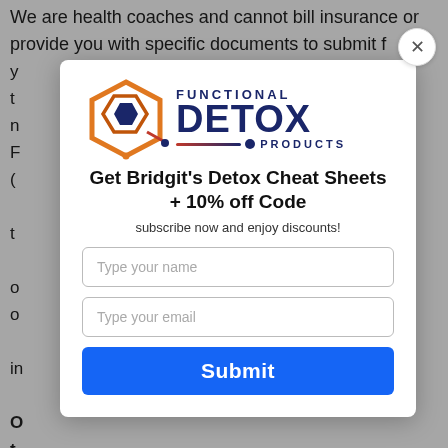We are health coaches and cannot bill insurance or provide you with specific documents to submit...
[Figure (logo): Functional Detox Products logo with hexagon molecular graphic and gradient line]
Get Bridgit's Detox Cheat Sheets + 10% off Code
subscribe now and enjoy discounts!
Type your name
Type your email
Submit